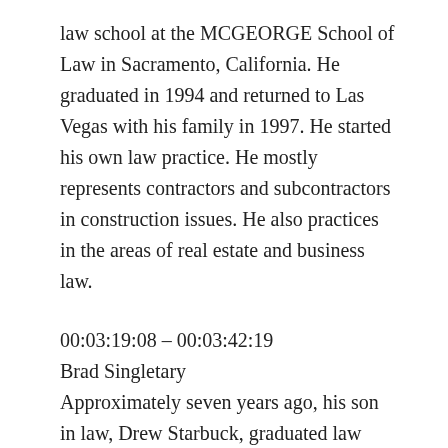law school at the MCGEORGE School of Law in Sacramento, California. He graduated in 1994 and returned to Las Vegas with his family in 1997. He started his own law practice. He mostly represents contractors and subcontractors in construction issues. He also practices in the areas of real estate and business law.
00:03:19:08 – 00:03:42:19
Brad Singletary
Approximately seven years ago, his son in law, Drew Starbuck, graduated law school and came to work with Butch. Mr. Starbucks practices primarily in real estate planning and probate. They own the firm Williams Starbuck. But I'm so